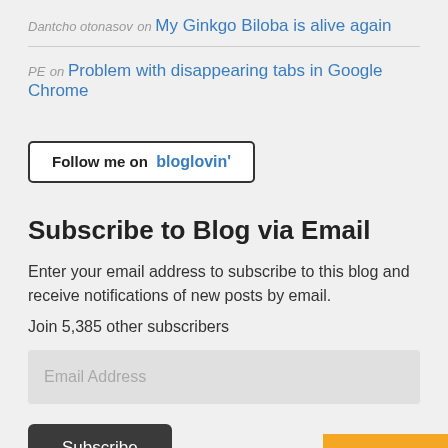Dantcho otonasov on My Ginkgo Biloba is alive again
PE on Problem with disappearing tabs in Google Chrome
[Figure (other): Follow me on bloglovin' button with black text 'Follow me on' and blue text 'bloglovin']
Subscribe to Blog via Email
Enter your email address to subscribe to this blog and receive notifications of new posts by email.
Join 5,385 other subscribers
Email Address
Subscribe